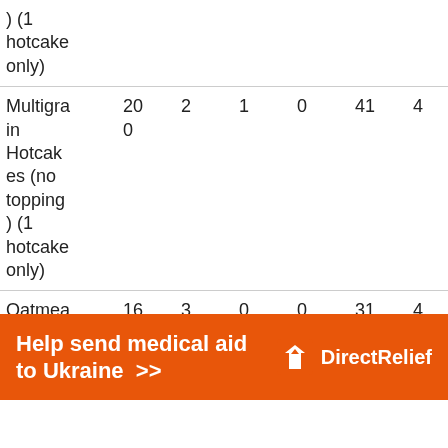| ) (1 hotcake only) |  |  |  |  |  |  |  |
| Multigrain Hotcakes (no topping) (1 hotcake only) | 200 | 2 | 1 | 0 | 41 | 4 | 5 |
| Oatmea... | 16 | 3 | 0 | 0 | 31 | 4 | 6 |
[Figure (infographic): Orange advertisement banner: 'Help send medical aid to Ukraine >>' with Direct Relief logo]